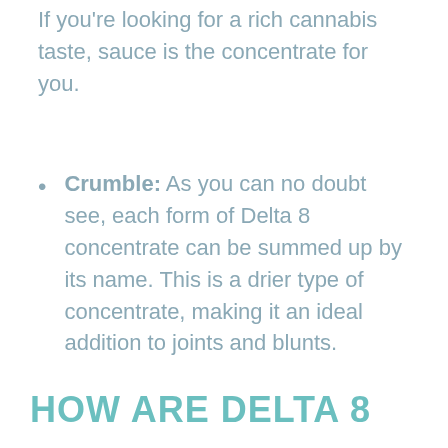If you're looking for a rich cannabis taste, sauce is the concentrate for you.
Crumble: As you can no doubt see, each form of Delta 8 concentrate can be summed up by its name. This is a drier type of concentrate, making it an ideal addition to joints and blunts.
HOW ARE DELTA 8